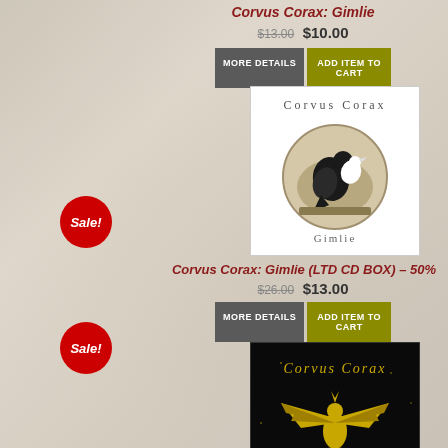Corvus Corax: Gimlie
$13.00 $10.00
MORE DETAILS | ADD ITEM TO CART
[Figure (photo): Album cover for Corvus Corax Gimlie - white background with circular image of a raven and text 'Gimlie']
Corvus Corax: Gimlie (LTD CD BOX) – 50%
$26.00 $13.00
MORE DETAILS | ADD ITEM TO CART
[Figure (photo): Album cover for Corvus Corax Sverker - black background with golden phoenix/eagle and text 'SVERKER']
Corvus Corax: Sverker